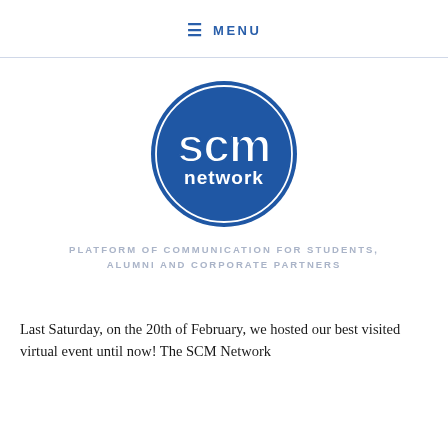☰ MENU
[Figure (logo): SCM Network circular logo — blue circle with white outlined text 'scm' in large letters and 'network' below, with a thin white inner ring border]
PLATFORM OF COMMUNICATION FOR STUDENTS, ALUMNI AND CORPORATE PARTNERS
Last Saturday, on the 20th of February, we hosted our best visited virtual event until now! The SCM Network